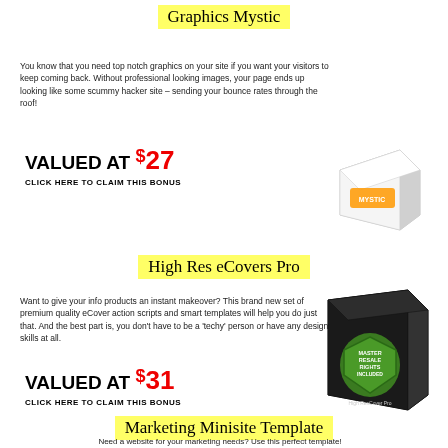Graphics Mystic
You know that you need top notch graphics on your site if you want your visitors to keep coming back. Without professional looking images, your page ends up looking like some scummy hacker site – sending your bounce rates through the roof!
VALUED AT $27
CLICK HERE TO CLAIM THIS BONUS
[Figure (illustration): White product box with orange Mystic logo]
High Res eCovers Pro
Want to give your info products an instant makeover? This brand new set of premium quality eCover action scripts and smart templates will help you do just that. And the best part is, you don't have to be a 'techy' person or have any design skills at all.
VALUED AT $31
CLICK HERE TO CLAIM THIS BONUS
[Figure (illustration): Dark product box with Master Resale Rights Included shield badge and High ResCover Pro branding]
Marketing Minisite Template
Need a website for your marketing needs? Use this perfect template!